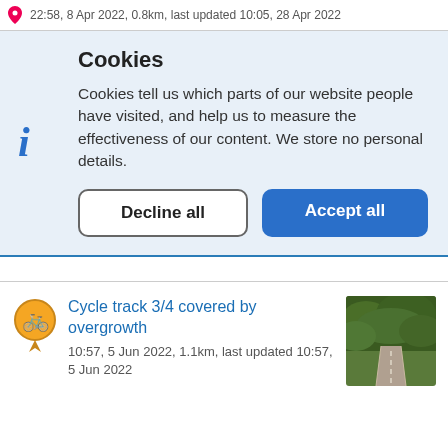22:58, 8 Apr 2022, 0.8km, last updated 10:05, 28 Apr 2022
Cookies
Cookies tell us which parts of our website people have visited, and help us to measure the effectiveness of our content. We store no personal details.
Decline all
Accept all
Cycle track 3/4 covered by overgrowth
10:57, 5 Jun 2022, 1.1km, last updated 10:57, 5 Jun 2022